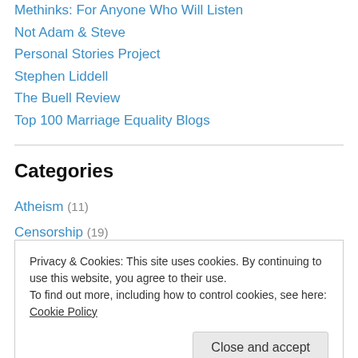Methinks: For Anyone Who Will Listen
Not Adam & Steve
Personal Stories Project
Stephen Liddell
The Buell Review
Top 100 Marriage Equality Blogs
Categories
Atheism (11)
Censorship (19)
Civil Rights (93)
Current Events (22)
Privacy & Cookies: This site uses cookies. By continuing to use this website, you agree to their use.
To find out more, including how to control cookies, see here: Cookie Policy
History (56)